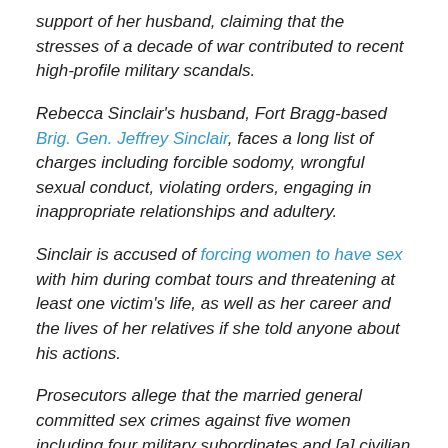support of her husband, claiming that the stresses of a decade of war contributed to recent high-profile military scandals.
Rebecca Sinclair's husband, Fort Bragg-based Brig. Gen. Jeffrey Sinclair, faces a long list of charges including forcible sodomy, wrongful sexual conduct, violating orders, engaging in inappropriate relationships and adultery.
Sinclair is accused of forcing women to have sex with him during combat tours and threatening at least one victim's life, as well as her career and the lives of her relatives if she told anyone about his actions.
Prosecutors allege that the married general committed sex crimes against five women including four military subordinates and [a] civilian between 2007 and 2012 in places like Iraq, Afghanistan and Germany.